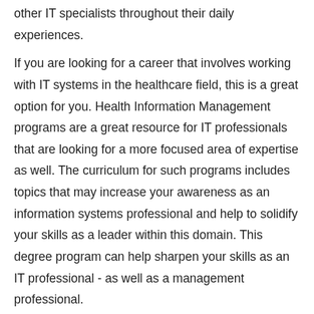other IT specialists throughout their daily experiences.
If you are looking for a career that involves working with IT systems in the healthcare field, this is a great option for you. Health Information Management programs are a great resource for IT professionals that are looking for a more focused area of expertise as well. The curriculum for such programs includes topics that may increase your awareness as an information systems professional and help to solidify your skills as a leader within this domain. This degree program can help sharpen your skills as an IT professional - as well as a management professional.
Online Master of Health Information Management Programs